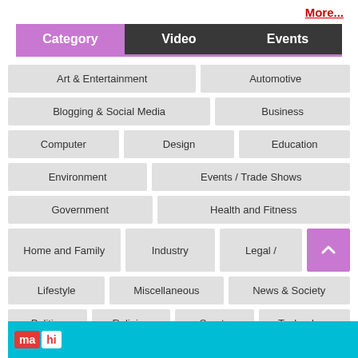More...
| Category | Video | Events |
| --- | --- | --- |
Art & Entertainment
Automotive
Blogging & Social Media
Business
Computer
Design
Education
Environment
Events / Trade Shows
Government
Health and Fitness
Home and Family
Industry
Legal /
Lifestyle
Miscellaneous
News & Society
Politics
Religion
Sports
Technology
[Figure (logo): ma hi logo on cyan banner]